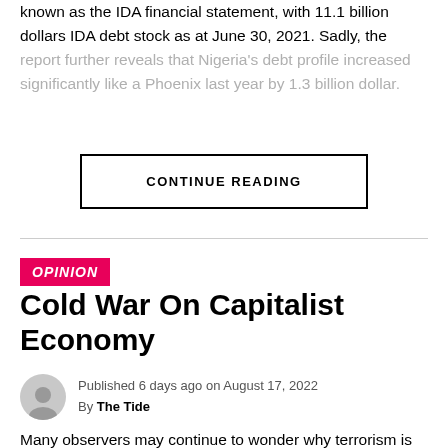known as the IDA financial statement, with 11.1 billion dollars IDA debt stock as at June 30, 2021. Sadly, the report further reveals that Nigeria's debt profile increased significantly like a Phoenix last year by 1.3 billion dollar.
CONTINUE READING
OPINION
Cold War On Capitalist Economy
Published 6 days ago on August 17, 2022
By The Tide
Many observers may continue to wonder why terrorism is commonly associated with Islam and the demands and mission of religious extremists such as Al Queda, ISWAP,